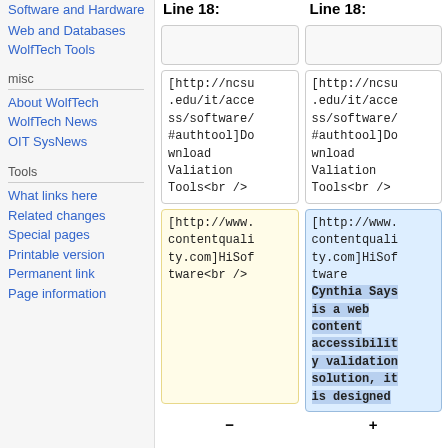Software and Hardware
Web and Databases
WolfTech Tools
misc
About WolfTech
WolfTech News
OIT SysNews
Tools
What links here
Related changes
Special pages
Printable version
Permanent link
Page information
Line 18:
Line 18:
[http://ncsu.edu/it/access/software/#authtool]Download Valiation Tools<br />
[http://ncsu.edu/it/access/software/#authtool]Download Valiation Tools<br />
[http://www.contentquality.com]HiSoftware<br />
[http://www.contentquality.com]HiSoftware Cynthia Says is a web content accessibility validation solution, it is designed